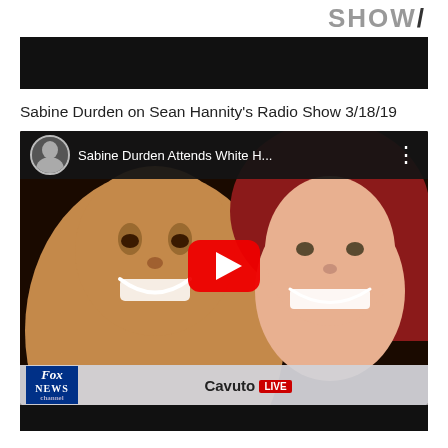SHOW /
[Figure (screenshot): Black video/media bar at top of page, dark background banner]
Sabine Durden on Sean Hannity's Radio Show 3/18/19
[Figure (screenshot): YouTube video thumbnail showing 'Sabine Durden Attends White H...' with a photo of two smiling people, Fox News Cavuto LIVE lower third, and a YouTube play button overlay]
[Figure (screenshot): Bottom black bar, continuation of video/media section]